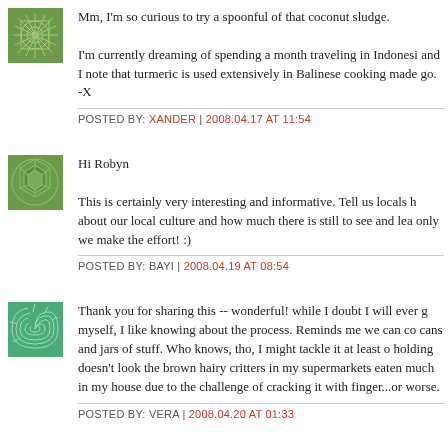Mm, I'm so curious to try a spoonful of that coconut sludge.

I'm currently dreaming of spending a month traveling in Indonesia, and I note that turmeric is used extensively in Balinese cooking made me want to go. -X
POSTED BY: XANDER | 2008.04.17 AT 11:54
Hi Robyn
This is certainly very interesting and informative. Tell us locals here about our local culture and how much there is still to see and learn, if only we make the effort! :)
POSTED BY: BAYI | 2008.04.19 AT 08:54
Thank you for sharing this -- wonderful! while I doubt I will ever go myself, I like knowing about the process. Reminds me we can connect cans and jars of stuff. Who knows, tho, I might tackle it at least once holding doesn't look the brown hairy critters in my supermarkets... eaten much in my house due to the challenge of cracking it without finger...or worse.
POSTED BY: VERA | 2008.04.20 AT 01:33